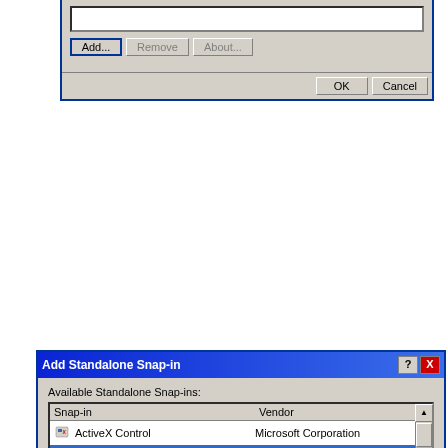[Figure (screenshot): Top fragment of a Windows XP dialog box showing Add, Remove, About buttons and OK, Cancel buttons]
[Figure (screenshot): Windows XP 'Add Standalone Snap-in' dialog showing a list of available snap-ins (ActiveX Control, Certificates selected, Component Services, Computer Management, Device Manager, Disk Defragmenter, Disk Management, Event Viewer, Folder, Group Policy) with their vendors (mostly Microsoft Corporation), a Description section explaining Certificates snap-in, and Add/Close buttons at the bottom]